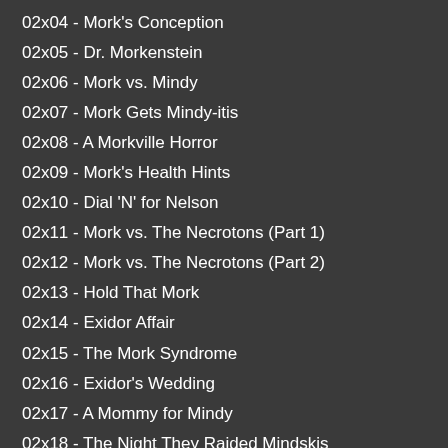02x04 - Mork's Conception
02x05 - Dr. Morkenstein
02x06 - Mork vs. Mindy
02x07 - Mork Gets Mindy-itis
02x08 - A Morkville Horror
02x09 - Mork's Health Hints
02x10 - Dial 'N' for Nelson
02x11 - Mork vs. The Necrotons (Part 1)
02x12 - Mork vs. The Necrotons (Part 2)
02x13 - Hold That Mork
02x14 - Exidor Affair
02x15 - The Mork Syndrome
02x16 - Exidor's Wedding
02x17 - A Mommy for Mindy
02x18 - The Night They Raided Mindskis
02x19 - Mork Learns to See
02x20 - Mork's Vacation
02x21 - Jeanie Loves Mork
02x22 - Little Orphan Morkie
02x23 - Looney Tunes and Morkie Melodies